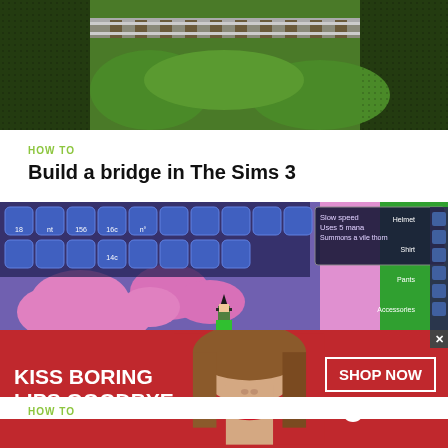[Figure (screenshot): Aerial/top-down view of The Sims 3 game showing a bridge being built over green terrain with railway tracks]
HOW TO
Build a bridge in The Sims 3
[Figure (screenshot): Terraria game screenshot showing a character with witch hat on a platform, with pink clouds, blue/purple sky, game UI showing Slow speed, Uses 5 mana, Summons a vile thorn tooltip, Helmet, Shirt, Pants, Accessories slots on right side, and Crafting menu on bottom left]
HOW TO
[Figure (advertisement): Macy's advertisement banner with red background showing a woman's face with red lips, text KISS BORING LIPS GOODBYE, SHOP NOW button, and Macy's star logo]